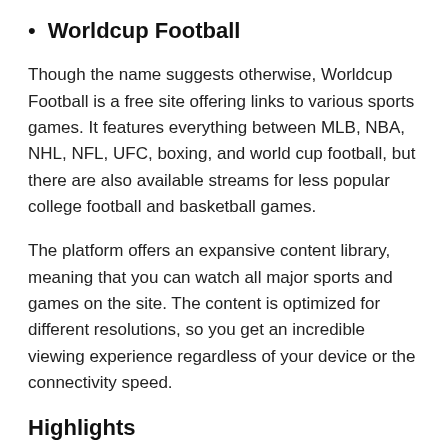Worldcup Football
Though the name suggests otherwise, Worldcup Football is a free site offering links to various sports games. It features everything between MLB, NBA, NHL, NFL, UFC, boxing, and world cup football, but there are also available streams for less popular college football and basketball games.
The platform offers an expansive content library, meaning that you can watch all major sports and games on the site. The content is optimized for different resolutions, so you get an incredible viewing experience regardless of your device or the connectivity speed.
Highlights
Available on most desktop browsers and computers...